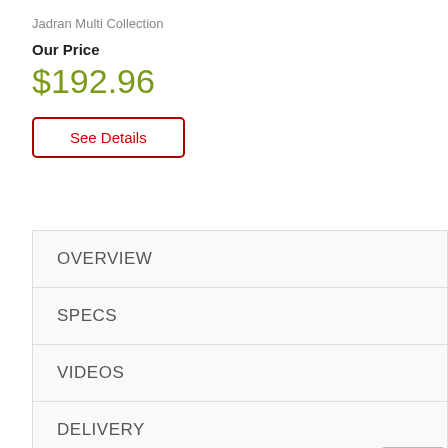Jadran Multi Collection
Our Price
$192.96
See Details
OVERVIEW
SPECS
VIDEOS
DELIVERY
WARRANTY